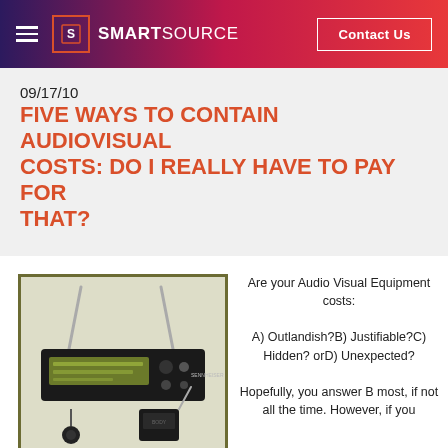SMARTSOURCE | Contact Us
09/17/10
FIVE WAYS TO CONTAIN AUDIOVISUAL COSTS: DO I REALLY HAVE TO PAY FOR THAT?
[Figure (photo): Photo of a Sennheiser wireless microphone receiver unit with antennas and accompanying lavalier/body pack transmitter components]
Are your Audio Visual Equipment costs: A) Outlandish?B) Justifiable?C) Hidden? orD) Unexpected? Hopefully, you answer B most, if not all the time. However, if you